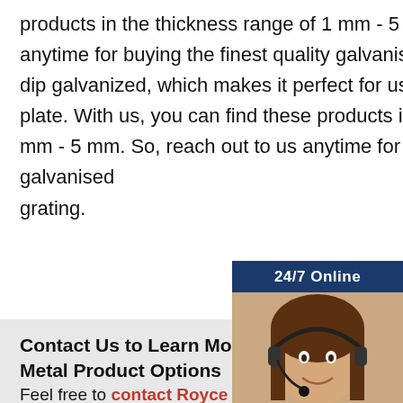products in the thickness range of 1 mm - 5 mm. So, reach out to us anytime for buying the finest quality galvanised grating.;Its surface is hot dip galvanized, which makes it perfect for usage in high-strength steel plate. With us, you can find these products in the thickness range of 1 mm - 5 mm. So, reach out to us anytime for buying the finest quality galvanised grating.
[Figure (photo): Customer service representative woman wearing a headset, smiling, with a 24/7 Online banner header, blue background contact widget with 'Have any requests, click here.' text and an orange Quotation button.]
Contact Us to Learn More About Your Pe... Metal Product Options
Feel free to contact Royce Specialty Steel to learn more about